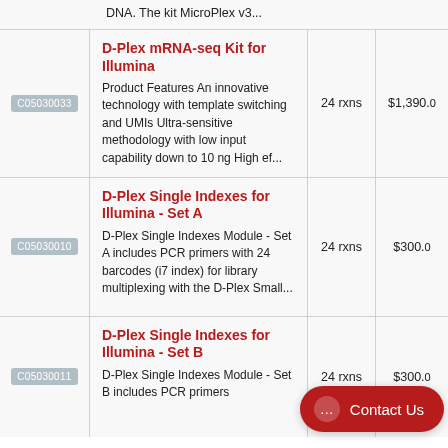DNA. The kit MicroPlex v3...
| Code | Product | Qty | Price |
| --- | --- | --- | --- |
| C05030033 | D-Plex mRNA-seq Kit for Illumina
Product Features An innovative technology with template switching and UMIs Ultra-sensitive methodology with low input capability down to 10 ng High ef... | 24 rxns | $1,390.0 |
| C05030010 | D-Plex Single Indexes for Illumina - Set A
D-Plex Single Indexes Module - Set A includes PCR primers with 24 barcodes (i7 index) for library multiplexing with the D-Plex Small... | 24 rxns | $300.0 |
| C05030011 | D-Plex Single Indexes for Illumina - Set B
D-Plex Single Indexes Module - Set B includes PCR primers | 24 rxns | $300.0 |